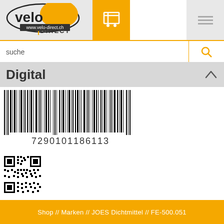[Figure (logo): Velo Direct logo with www.velo-direct.ch URL and DIRECT text]
[Figure (other): Shopping cart icon in orange square]
[Figure (other): Hamburger menu icon]
suche
Digital
[Figure (other): Barcode with number 7290101186113]
[Figure (other): QR code]
Shop // Marken // JOES Dichtmittel // FE-500.051